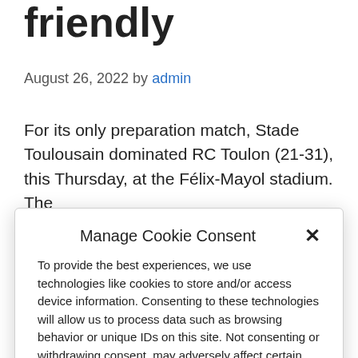friendly
August 26, 2022 by admin
For its only preparation match, Stade Toulousain dominated RC Toulon (21-31), this Thursday, at the Félix-Mayol stadium. The
Manage Cookie Consent
To provide the best experiences, we use technologies like cookies to store and/or access device information. Consenting to these technologies will allow us to process data such as browsing behavior or unique IDs on this site. Not consenting or withdrawing consent, may adversely affect certain features and functions.
Accept
Cookie Policy